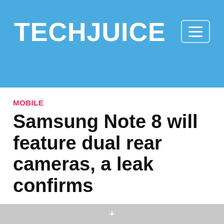TECHJUICE
MOBILE
Samsung Note 8 will feature dual rear cameras, a leak confirms
+